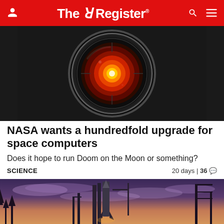The Register
[Figure (photo): HAL 9000-style red camera eye / lens glowing in the dark, close-up shot]
NASA wants a hundredfold upgrade for space computers
Does it hope to run Doom on the Moon or something?
SCIENCE  20 days | 36 comments
[Figure (photo): Rocket on launch pad at dusk/sunset with purple and orange sky, silhouetted trees and infrastructure]